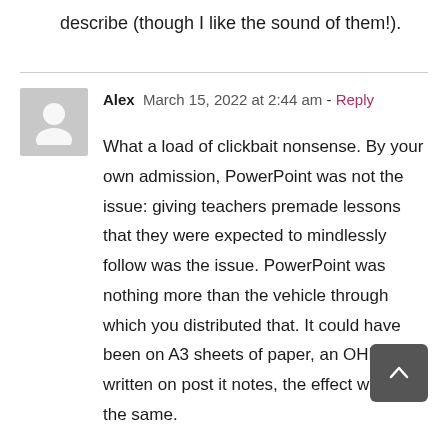describe (though I like the sound of them!).
Alex  March 15, 2022 at 2:44 am - Reply

What a load of clickbait nonsense. By your own admission, PowerPoint was not the issue: giving teachers premade lessons that they were expected to mindlessly follow was the issue. PowerPoint was nothing more than the vehicle through which you distributed that. It could have been on A3 sheets of paper, an OHP, or written on post it notes, the effect would be the same.

Your argument is that teachers should plan